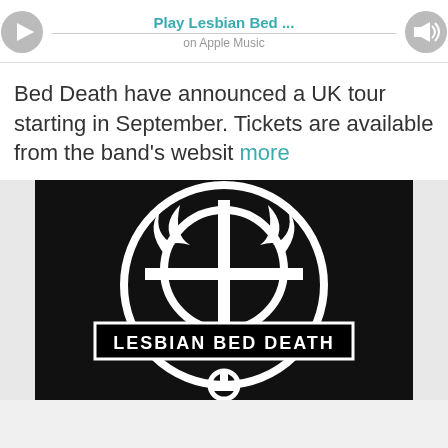[Figure (infographic): Apple Music player widget showing play button on left, 'Play Lesbian Bed ...' title in teal/cyan bold text, 'on Apple Music' subtitle, a horizontal track line, and a volume/speaker button on the right.]
Bed Death have announced a UK tour starting in September. Tickets are available from the band's websit more
[Figure (logo): Black and white circular logo for Lesbian Bed Death band. A large circle with a stylized anarchy-style symbol and flame/devil imagery in white on black background. Text 'LESBIAN BED DEATH' appears in a banner across the middle of the circle.]